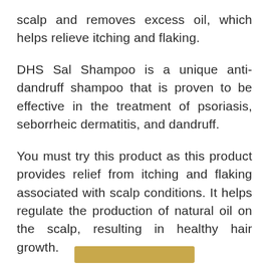scalp and removes excess oil, which helps relieve itching and flaking.
DHS Sal Shampoo is a unique anti-dandruff shampoo that is proven to be effective in the treatment of psoriasis, seborrheic dermatitis, and dandruff.
You must try this product as this product provides relief from itching and flaking associated with scalp conditions. It helps regulate the production of natural oil on the scalp, resulting in healthy hair growth.